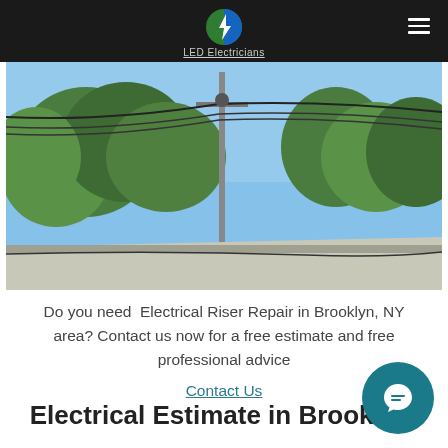LED Electricians
[Figure (photo): Outdoor photo looking up at electrical wires on a utility pole against a blue sky with green leafy trees, and a rooftop edge visible at the bottom of the frame.]
Do you need  Electrical Riser Repair in Brooklyn, NY area? Contact us now for a free estimate and free professional advice
Contact Us
Electrical Estimate in Brooklyn,